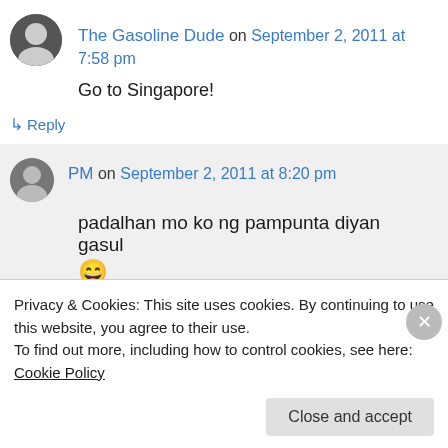The Gasoline Dude on September 2, 2011 at 7:58 pm
Go to Singapore!
↳ Reply
PM on September 2, 2011 at 8:20 pm
padalhan mo ko ng pampunta diyan gasul 😄
↳ Reply
Privacy & Cookies: This site uses cookies. By continuing to use this website, you agree to their use.
To find out more, including how to control cookies, see here: Cookie Policy
Close and accept